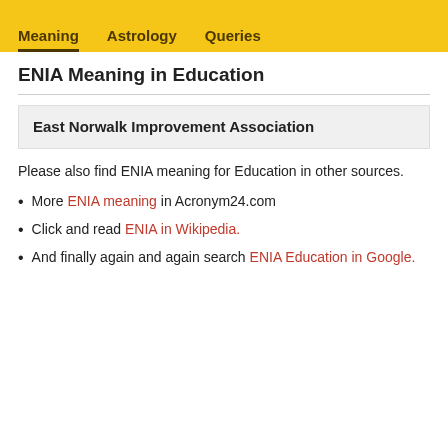Meaning  Astrology  Queries
ENIA Meaning in Education
East Norwalk Improvement Association
Please also find ENIA meaning for Education in other sources.
More ENIA meaning in Acronym24.com
Click and read ENIA in Wikipedia.
And finally again and again search ENIA Education in Google.